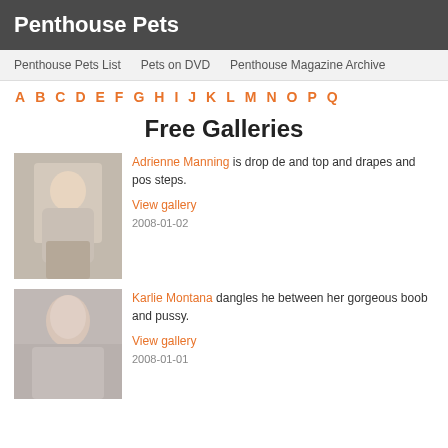Penthouse Pets
Penthouse Pets List | Pets on DVD | Penthouse Magazine Archive
A B C D E F G H I J K L M N O P Q
Free Galleries
Adrienne Manning is drop de... and top and drapes and pos... steps. View gallery 2008-01-02
Karlie Montana dangles he... between her gorgeous boob... and pussy. View gallery 2008-01-01